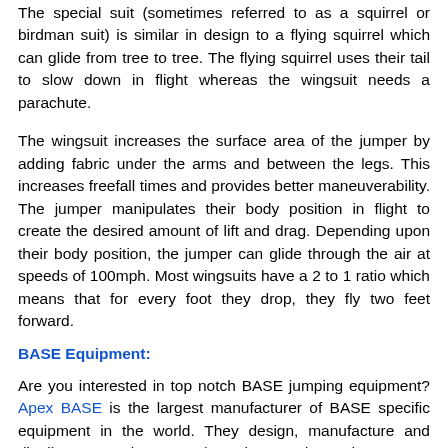The special suit (sometimes referred to as a squirrel or birdman suit) is similar in design to a flying squirrel which can glide from tree to tree. The flying squirrel uses their tail to slow down in flight whereas the wingsuit needs a parachute.
The wingsuit increases the surface area of the jumper by adding fabric under the arms and between the legs. This increases freefall times and provides better maneuverability. The jumper manipulates their body position in flight to create the desired amount of lift and drag. Depending upon their body position, the jumper can glide through the air at speeds of 100mph. Most wingsuits have a 2 to 1 ratio which means that for every foot they drop, they fly two feet forward.
BASE Equipment:
Are you interested in top notch BASE jumping equipment? Apex BASE is the largest manufacturer of BASE specific equipment in the world. They design, manufacture and distribute BASE harnesses/containers and parachutes.